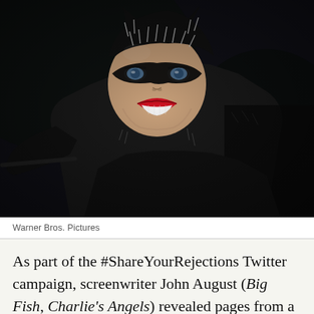[Figure (photo): Catwoman character in black latex suit and mask with cat ears, wearing red lipstick, smiling. Movie still from Batman Returns (1992). Dark, dimly lit scene.]
Warner Bros. Pictures
As part of the #ShareYourRejections Twitter campaign, screenwriter John August (Big Fish, Charlie's Angels) revealed pages from a rejected 1999